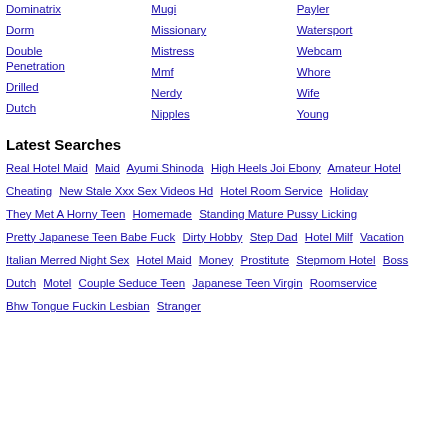Dominatrix
Mugi
Payler
Dorm
Missionary
Watersport
Double Penetration
Mistress
Webcam
Drilled
Mmf
Whore
Dutch
Nerdy
Wife
Nipples
Young
Latest Searches
Real Hotel Maid  Maid  Ayumi Shinoda  High Heels Joi Ebony  Amateur Hotel  Cheating  New Stale Xxx Sex Videos Hd  Hotel Room Service  Holiday  They Met A Horny Teen  Homemade  Standing Mature Pussy Licking  Pretty Japanese Teen Babe Fuck  Dirty Hobby  Step Dad  Hotel Milf  Vacation  Italian Merred Night Sex  Hotel Maid  Money  Prostitute  Stepmom Hotel  Boss  Dutch  Motel  Couple Seduce Teen  Japanese Teen Virgin  Roomservice  Bhw Tongue Fuckin Lesbian  Stranger